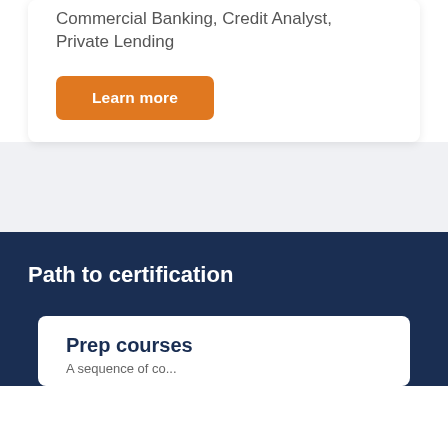Commercial Banking, Credit Analyst, Private Lending
Learn more
Path to certification
Prep courses